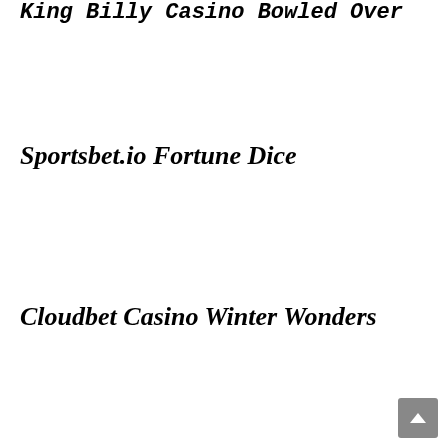King Billy Casino Bowled Over
Sportsbet.io Fortune Dice
Cloudbet Casino Winter Wonders